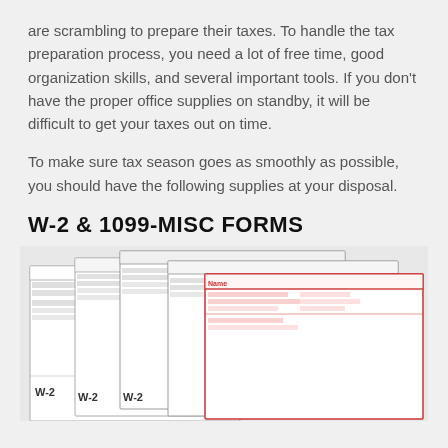are scrambling to prepare their taxes. To handle the tax preparation process, you need a lot of free time, good organization skills, and several important tools. If you don't have the proper office supplies on standby, it will be difficult to get your taxes out on time.
To make sure tax season goes as smoothly as possible, you should have the following supplies at your disposal.
W-2 & 1099-MISC FORMS
[Figure (illustration): Stack of overlapping W-2 and 1099-MISC tax forms fanned out, showing multiple paper documents layered on top of each other. The bottom forms show W-2 labels, and a red-bordered 1099-MISC form is visible on top.]